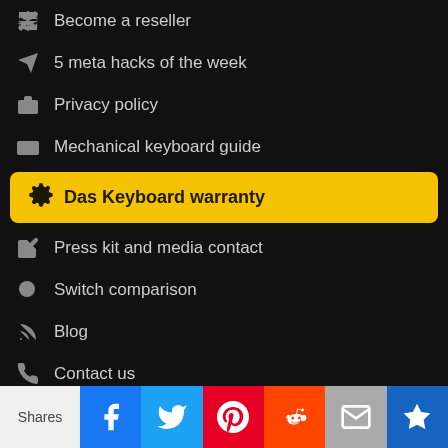Become a reseller
5 meta hacks of the week
Privacy policy
Mechanical keyboard guide
Das Keyboard warranty
Press kit and media contact
Switch comparison
Blog
Contact us
Das Keyboard story
Type faster
Impressum
Professional reviews
Unauthorized dealer
Shares